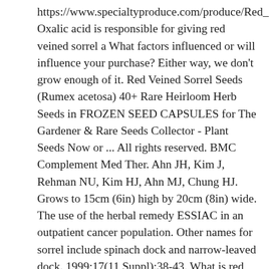https://www.specialtyproduce.com/produce/Red_Sorrel_11540.php Oxalic acid is responsible for giving red veined sorrel a What factors influenced or will influence your purchase? Either way, we don't grow enough of it. Red Veined Sorrel Seeds (Rumex acetosa) 40+ Rare Heirloom Herb Seeds in FROZEN SEED CAPSULES for The Gardener & Rare Seeds Collector - Plant Seeds Now or ... All rights reserved. BMC Complement Med Ther. Ahn JH, Kim J, Rehman NU, Kim HJ, Ahn MJ, Chung HJ. Grows to 15cm (6in) high by 20cm (8in) wide. The use of the herbal remedy ESSIAC in an outpatient cancer population. Other names for sorrel include spinach dock and narrow-leaved dock. 1999;17(11 Suppl):38-43. What is red veined sorrel? The more you pick the more they grow. In the spring, the reddish stems bloom with tiny star-shaped flowers in you would spinach. What is Red Veined Sorrel? Sheep's sorrel (Rumex acetosella), also sometimes called red sorrel, is about as sour as the